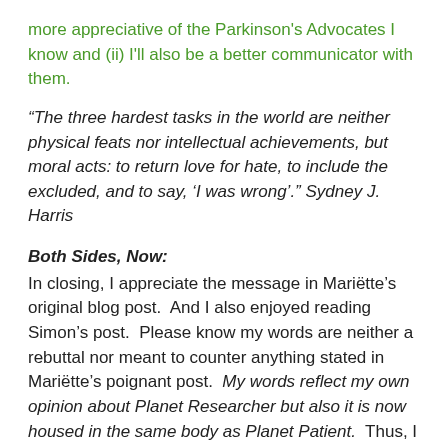more appreciative of the Parkinson's Advocates I know and (ii) I'll also be a better communicator with them.
“The three hardest tasks in the world are neither physical feats nor intellectual achievements, but moral acts: to return love for hate, to include the excluded, and to say, ‘I was wrong’.” Sydney J. Harris
Both Sides, Now:
In closing, I appreciate the message in Mariëtte’s original blog post.  And I also enjoyed reading Simon’s post.  Please know my words are neither a rebuttal nor meant to counter anything stated in Mariëtte’s poignant post.  My words reflect my own opinion about Planet Researcher but also it is now housed in the same body as Planet Patient.  Thus, I found truth in both blog posts regarding the two Planets.  I could not imagine a more meaningful and rewarding career to that provided me in Planet Researcher.